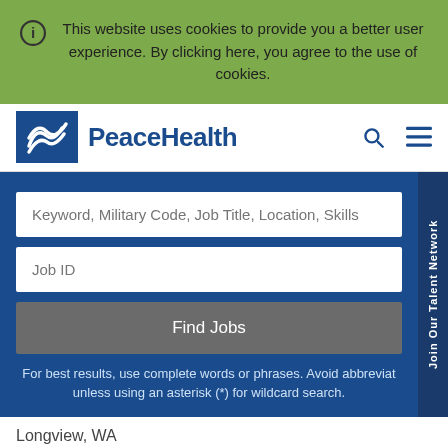This website uses cookies to provide you a better user experience. By clicking here, you agree to the use of cookies.
[Figure (logo): PeaceHealth logo with blue wave icon and blue PeaceHealth wordmark]
Keyword, Military Code, Job Title, Location, Skills
Job ID
Find Jobs
For best results, use complete words or phrases. Avoid abbreviat unless using an asterisk (*) for wildcard search.
Join Our Talent Network
Longview, WA
Nurse Technician II NEW